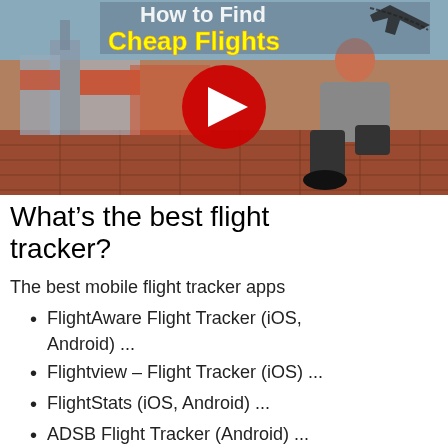[Figure (screenshot): YouTube video thumbnail showing a person sitting on a rooftop with a European city in the background. Title text in the video reads 'How to Find Cheap Flights' in yellow bold font. A red YouTube play button is visible in the center.]
What's the best flight tracker?
The best mobile flight tracker apps
FlightAware Flight Tracker (iOS, Android) ...
Flightview – Flight Tracker (iOS) ...
FlightStats (iOS, Android) ...
ADSB Flight Tracker (Android) ...
Plane Finder – Flight Tracker ...